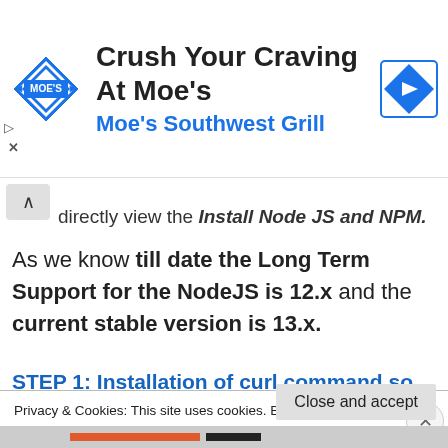[Figure (advertisement): Moe's Southwest Grill advertisement banner with logo and navigation arrow icon. Text: 'Crush Your Craving At Moe's' and 'Moe's Southwest Grill']
directly view the Install Node JS and NPM.
As we know till date the Long Term Support for the NodeJS is 12.x and the current stable version is 13.x.
STEP 1: Installation of curl command so
Privacy & Cookies: This site uses cookies. By continuing to use this website, you agree to their use.
To find out more, including how to control cookies, see here: Cookie Policy
Close and accept